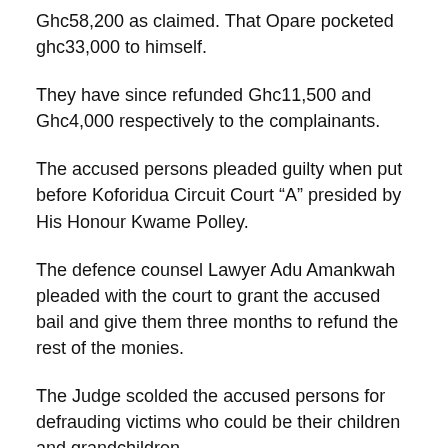Ghc58,200 as claimed. That Opare pocketed ghc33,000 to himself.
They have since refunded Ghc11,500 and Ghc4,000 respectively to the complainants.
The accused persons pleaded guilty when put before Koforidua Circuit Court “A” presided by His Honour Kwame Polley.
The defence counsel Lawyer Adu Amankwah pleaded with the court to grant the accused bail and give them three months to refund the rest of the monies.
The Judge scolded the accused persons for defrauding victims who could be their children and grandchildren.
The Judge admitted the accused persons to a bail sum of